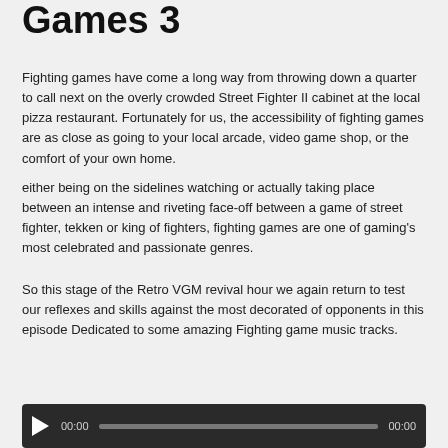Games 3
Fighting games have come a long way from throwing down a quarter to call next on the overly crowded Street Fighter II cabinet at the local pizza restaurant. Fortunately for us, the accessibility of fighting games are as close as going to your local arcade, video game shop, or the comfort of your own home.
either being on the sidelines watching or actually taking place between an intense and riveting face-off between a game of street fighter, tekken or king of fighters, fighting games are one of gaming's most celebrated and passionate genres.
So this stage of the Retro VGM revival hour we again return to test our reflexes and skills against the most decorated of opponents in this episode Dedicated to some amazing Fighting game music tracks.
[Figure (other): Audio player with play button, time display 00:00, progress bar, and end time 00:00 on a dark background]